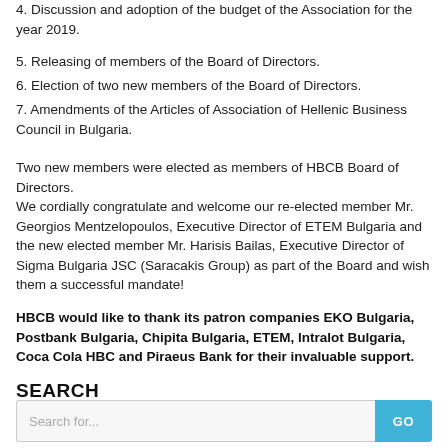4. Discussion and adoption of the budget of the Association for the year 2019.
5. Releasing of members of the Board of Directors.
6. Election of two new members of the Board of Directors.
7. Amendments of the Articles of Association of Hellenic Business Council in Bulgaria.
Two new members were elected as members of HBCB Board of Directors.
We cordially congratulate and welcome our re-elected member Mr. Georgios Mentzelopoulos, Executive Director of ETEM Bulgaria and the new elected member Mr. Harisis Bailas, Executive Director of Sigma Bulgaria JSC (Saracakis Group) as part of the Board and wish them a successful mandate!
HBCB would like to thank its patron companies EKO Bulgaria, Postbank Bulgaria, Chipita Bulgaria, ETEM, Intralot Bulgaria, Coca Cola HBC and Piraeus Bank for their invaluable support.
SEARCH